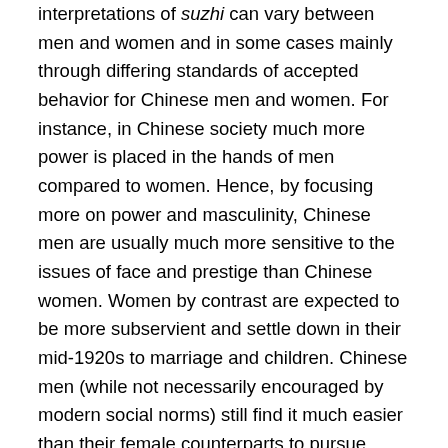interpretations of suzhi can vary between men and women and in some cases mainly through differing standards of accepted behavior for Chinese men and women. For instance, in Chinese society much more power is placed in the hands of men compared to women. Hence, by focusing more on power and masculinity, Chinese men are usually much more sensitive to the issues of face and prestige than Chinese women. Women by contrast are expected to be more subservient and settle down in their mid-1920s to marriage and children. Chinese men (while not necessarily encouraged by modern social norms) still find it much easier than their female counterparts to pursue multiple romantic partners before and after marriage. These differing expectations for men and women can be illuminated by recent events in which Chinese female university students were derided for trying to encourage female independence (feminism) through the